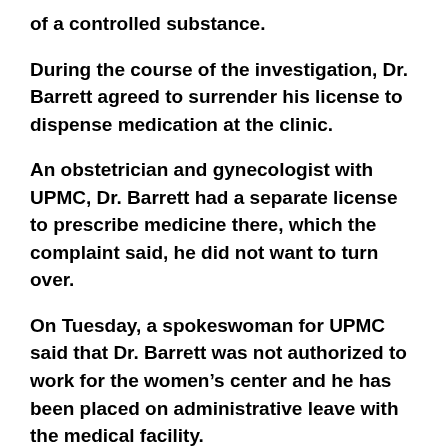of a controlled substance.
During the course of the investigation, Dr. Barrett agreed to surrender his license to dispense medication at the clinic.
An obstetrician and gynecologist with UPMC, Dr. Barrett had a separate license to prescribe medicine there, which the complaint said, he did not want to turn over.
On Tuesday, a spokeswoman for UPMC said that Dr. Barrett was not authorized to work for the women’s center and he has been placed on administrative leave with the medical facility.
Another Story here